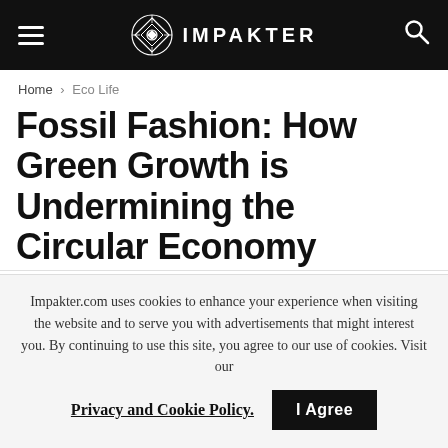IMPAKTER
Home > Eco Life
Fossil Fashion: How Green Growth is Undermining the Circular Economy
Why the fashion industry, driven by the green growth notion, cannot recycle its way out of the climate crisis
Impakter.com uses cookies to enhance your experience when visiting the website and to serve you with advertisements that might interest you. By continuing to use this site, you agree to our use of cookies. Visit our Privacy and Cookie Policy.
I Agree